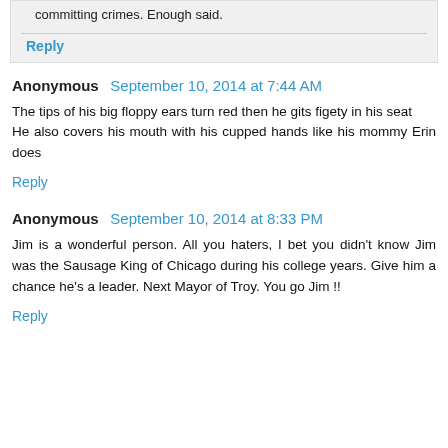committing crimes. Enough said.
Reply
Anonymous  September 10, 2014 at 7:44 AM
The tips of his big floppy ears turn red then he gits figety in his seat
He also covers his mouth with his cupped hands like his mommy Erin does
Reply
Anonymous  September 10, 2014 at 8:33 PM
Jim is a wonderful person. All you haters, I bet you didn't know Jim was the Sausage King of Chicago during his college years. Give him a chance he's a leader. Next Mayor of Troy. You go Jim !!
Reply